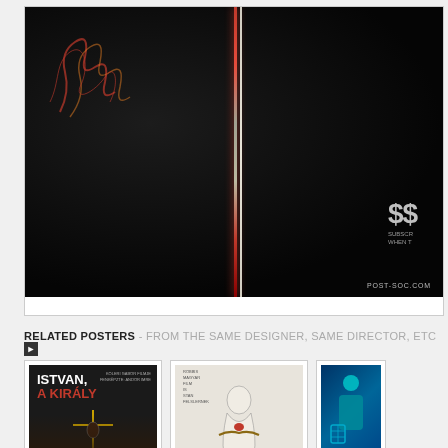[Figure (photo): Main movie poster image — dark background with a vertical red and light stripe running down the center, scrawled orange text on the left side, POST-SOC.COM watermark at bottom right]
$$ SUBSCR WHEN T
RELATED POSTERS - FROM THE SAME DESIGNER, SAME DIRECTOR, ETC
[Figure (photo): Movie poster for István, a Király — dark background, bold white and red title text, portrait of a person at the bottom]
[Figure (photo): Hungarian film poster — light/white background, small credits text at top left, abstract figure with red blood detail]
[Figure (photo): Third related poster — blue/teal color scheme, partially visible at right edge]